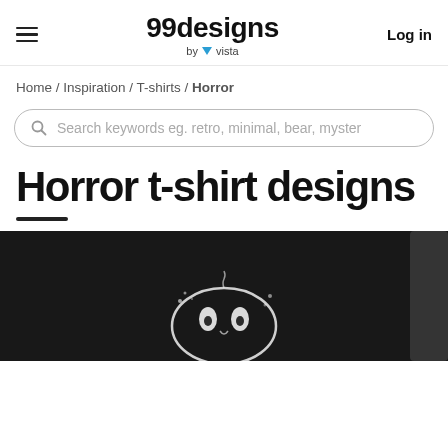99designs by vista — Log in
Home / Inspiration / T-shirts / Horror
Search keywords eg. retro, minimal, bear, myster
Horror t-shirt designs
[Figure (photo): Black and white photo of a horror t-shirt design with a ghostly face illustration in white on a dark shirt]